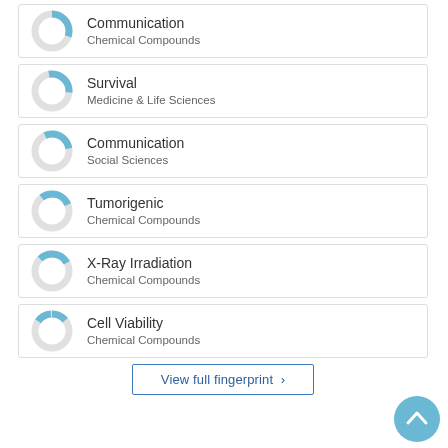[Figure (donut-chart): Donut chart showing partial fill in blue (~30%) for Communication, Chemical Compounds]
Communication
Chemical Compounds
[Figure (donut-chart): Donut chart showing partial fill in blue (~25%) for Survival, Medicine & Life Sciences]
Survival
Medicine & Life Sciences
[Figure (donut-chart): Donut chart showing partial fill in blue (~20%) for Communication, Social Sciences]
Communication
Social Sciences
[Figure (donut-chart): Donut chart showing partial fill in blue (~18%) for Tumorigenic, Chemical Compounds]
Tumorigenic
Chemical Compounds
[Figure (donut-chart): Donut chart showing partial fill in blue (~17%) for X-Ray Irradiation, Chemical Compounds]
X-Ray Irradiation
Chemical Compounds
[Figure (donut-chart): Donut chart showing partial fill in blue (~15%) for Cell Viability, Chemical Compounds]
Cell Viability
Chemical Compounds
View full fingerprint ›